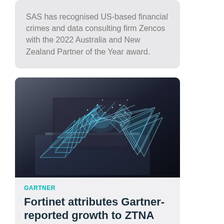SAS has recognised US-based financial crimes and data consulting firm Zencos with the 2022 Australia and New Zealand Partner of the Year award.
[Figure (photo): Digital/wireframe robotic hands shaking in front of a laptop, representing AI or digital partnership]
GARTNER
Fortinet attributes Gartner-reported growth to ZTNA approach